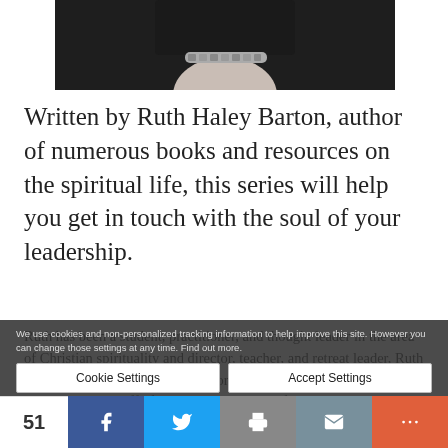[Figure (photo): Photo of a person's wrist wearing a bracelet, dressed in dark clothing, shown from shoulders down with hands clasped]
Written by Ruth Haley Barton, author of numerous books and resources on the spiritual life, this series will help you get in touch with the soul of your leadership.
Ruth has been a student, practitioner, and thought leader in the area of Christian spirituality and...
We use cookies and non-personalized tracking information to help improve this site. However you can change those settings at any time. Find out more.
Cookie Settings | Accept Settings
51 | Share buttons: Facebook, Twitter, Print, Email, More